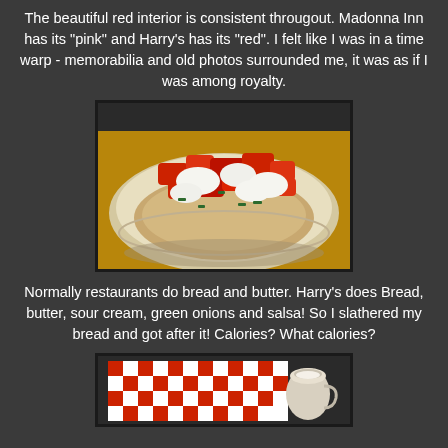The beautiful red interior is consistent througout. Madonna Inn has its "pink" and Harry's has its "red". I felt like I was in a time warp - memorabilia and old photos surrounded me, it was as if I was among royalty.
[Figure (photo): A plate with bruschetta topped with chopped tomatoes, sour cream, and green onions on a round bread slice, served on a white plate.]
Normally restaurants do bread and butter. Harry's does Bread, butter, sour cream, green onions and salsa! So I slathered my bread and got after it! Calories? What calories?
[Figure (photo): A red and white checkered tablecloth/napkin with a small pitcher or creamer visible, restaurant table setting.]